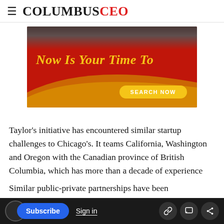COLUMBUSCEO
[Figure (infographic): Advertisement banner with red background, gold wave accent, italic yellow text 'Now Is Your Time To' and a yellow 'SEARCH NOW' button]
Taylor's initiative has encountered similar startup challenges to Chicago's. It teams California, Washington and Oregon with the Canadian province of British Columbia, which has more than a decade of experience turning billions in private money into light rail lines, bridges, hospitals and courthouses. He says the trick is
Subscribe  Sign in
Similar public-private partnerships have been